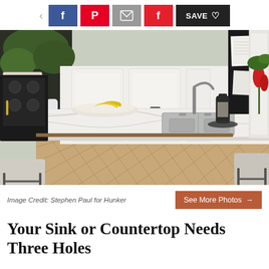[Figure (screenshot): Social media sharing toolbar with back arrow, Facebook, Pinterest, email, Flipboard, and Save buttons]
[Figure (photo): Kitchen interior with a marble island countertop featuring a stainless steel sink, white cabinets, chalkboard wall, and bar stools. A red tulip and green plants are visible.]
Image Credit: Stephen Paul for Hunker
[Figure (screenshot): See More Photos button with arrow]
Your Sink or Countertop Needs Three Holes